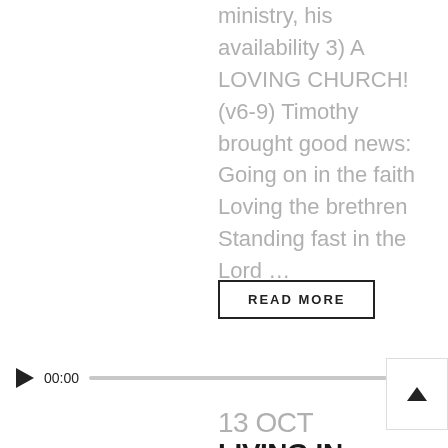ministry, his availability 3) A LOVING CHURCH! (v6-9) Timothy brought good news: Going on in the faith Loving the brethren Standing fast in the Lord …
READ MORE
[Figure (other): Audio player with play button, 00:00 timestamp, progress bar, and 00:00 end time]
[Figure (other): Scroll-to-top button with chevron/caret upward arrow]
13 OCT LIVING IN THE LIGHT OF HIS